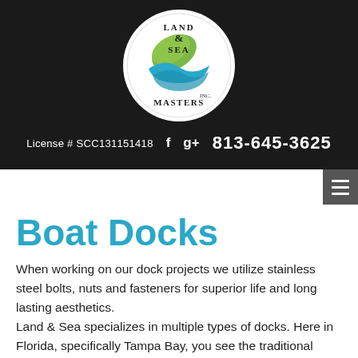[Figure (logo): Land & Sea Masters Inc. circular logo with green and blue wave design on white background, set in dark header bar]
License # SCC131151418   f   g+   813-645-3625
Boat Docks
When working on our dock projects we utilize stainless steel bolts, nuts and fasteners for superior life and long lasting aesthetics.
Land & Sea specializes in multiple types of docks. Here in Florida, specifically Tampa Bay, you see the traditional wood and composite framed floating docks and traditional fixed height stationary docks. After you give us a call, we will come out and meet with you to discuss the needs and requirements to create a